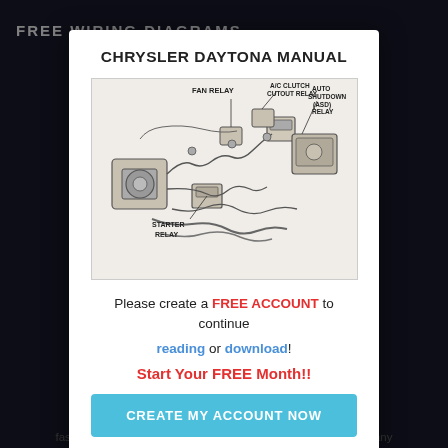FREE WIRING DIAGRAMS
Own a Chrysler Daytona download Chrysler Daytona Iroc Workshop Chrysler Daytona Chrysler Daytona Dodge Daytona most popular manual (V6-181 3 als) is available load a Chrysler Daytona Repair a 1992 Dodge D ROC?Is there popular manual 181 3 SOHC available to do air & Ser dge Daytona T?How fast is the Dodge Charger Daytona SRT?Dodge's parent company Stellantis previously said that the electric platform the Charg...
CHRYSLER DAYTONA MANUAL
[Figure (engineering-diagram): Engine compartment diagram of a Chrysler Daytona showing labeled relays: FAN RELAY, A/C CLUTCH CUTOUT RELAY, AUTO SHUTDOWN (ASD) RELAY, and STARTER RELAY, with wiring and components visible.]
Please create a FREE ACCOUNT to continue reading or download!
Start Your FREE Month!!
CREATE MY ACCOUNT NOW